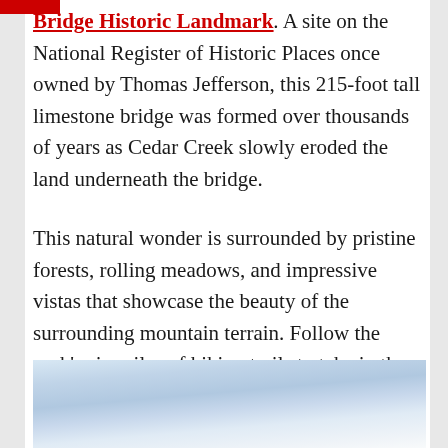Bridge Historic Landmark. A site on the National Register of Historic Places once owned by Thomas Jefferson, this 215-foot tall limestone bridge was formed over thousands of years as Cedar Creek slowly eroded the land underneath the bridge.
This natural wonder is surrounded by pristine forests, rolling meadows, and impressive vistas that showcase the beauty of the surrounding mountain terrain. Follow the park's six miles of hiking trails to take in the variety of landscapes found within Natural Bridge State Park.
[Figure (photo): Partial view of sky with clouds, bottom portion of an outdoor landscape photo]